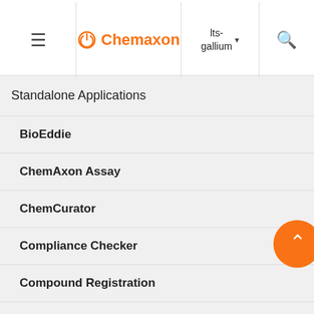Chemaxon | lts-gallium
Standalone Applications
BioEddie
ChemAxon Assay
ChemCurator
Compliance Checker
Compound Registration
Instant JChem
Instant Jchem User Guide
Instant JChem Administrator Gui...
imp

Struct field values can be update when mergi by y other (s